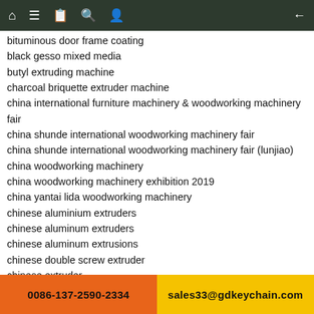Navigation bar with icons
bituminous door frame coating
black gesso mixed media
butyl extruding machine
charcoal briquette extruder machine
china international furniture machinery & woodworking machinery fair
china shunde international woodworking machinery fair
china shunde international woodworking machinery fair (lunjiao)
china woodworking machinery
china woodworking machinery exhibition 2019
china yantai lida woodworking machinery
chinese aluminium extruders
chinese aluminum extruders
chinese aluminum extrusions
chinese double screw extruder
chinese extruder
chinese extrusion profiles
chinese plastic extruders
chinese plastic extrusion manufacturers
chinese titan extruder
chinese wood boring machine
chinese wood cnc machine
chinese wood machine
0086-137-2590-2334    sales33@gdkeychain.com